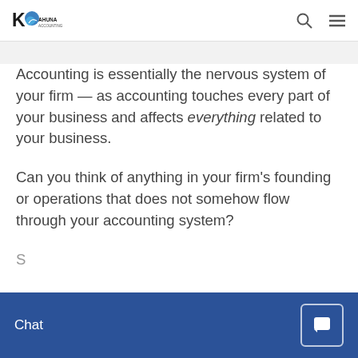Kahuna logo, search icon, menu icon
Accounting is essentially the nervous system of your firm — as accounting touches every part of your business and affects everything related to your business.
Can you think of anything in your firm's founding or operations that does not somehow flow through your accounting system?
S... accounting affects ... this ... ability to deliver value to your clients,